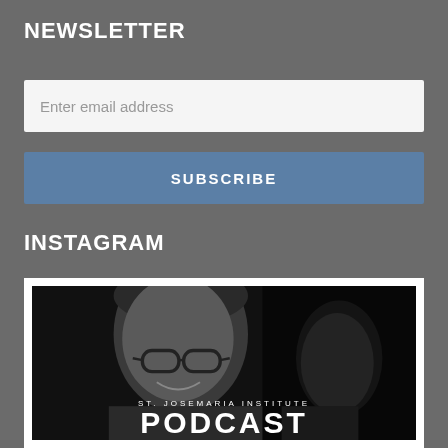NEWSLETTER
Enter email address
SUBSCRIBE
INSTAGRAM
[Figure (photo): Black and white photograph of a man with glasses smiling, with a woman partially visible to the right. Text overlay reads 'ST. JOSEMARIA INSTITUTE' and 'PODCAST' at the bottom.]